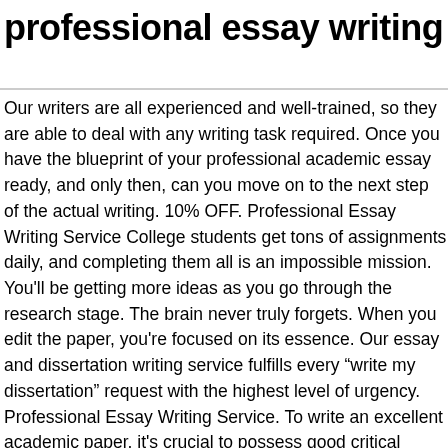professional essay writing
Our writers are all experienced and well-trained, so they are able to deal with any writing task required. Once you have the blueprint of your professional academic essay ready, and only then, can you move on to the next step of the actual writing. 10% OFF. Professional Essay Writing Service College students get tons of assignments daily, and completing them all is an impossible mission. You'll be getting more ideas as you go through the research stage. The brain never truly forgets. When you edit the paper, you're focused on its essence. Our essay and dissertation writing service fulfills every “write my dissertation” request with the highest level of urgency. Professional Essay Writing Service. To write an excellent academic paper, it's crucial to possess good critical thinking skills, have appropriate knowledge of the discipline, and know how to apply an academic writing style. Professional Essay Writers Will Handle Everything for You. The guide works for all types of essays, and it's really easy to follow. Let's see how that works. This is because they have many activities that they need to handle within a specific time. The paper's outline is the skeleton of your paper. Do not forsake your introduction for the sake of your essay. Our team knows the educational sphere inside and out due to the many years of experience in the niche